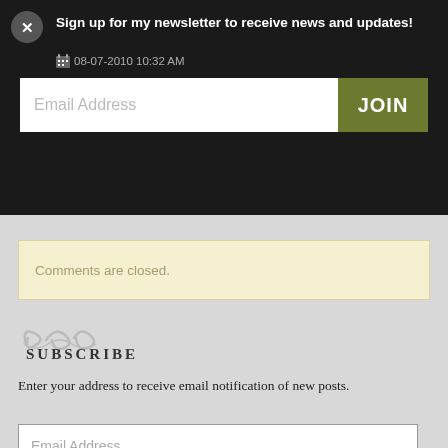Sign up for my newsletter to receive news and updates!
08-07-2010 10:32 AM
Email Address
JOIN
If it's any comfort, I always injure myself on my left side. Ankle, knee, rib, wrist. Left, left, left, left.
Comments are closed.
SUBSCRIBE
Enter your address to receive email notification of new posts.
Email Address
Subscribe